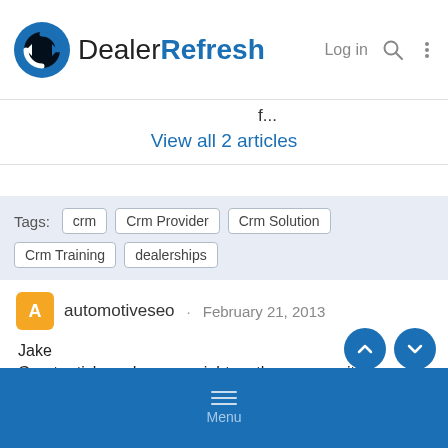DealerRefresh — Log in
f...
View all 2 articles
Tags: crm  Crm Provider  Crm Solution  Crm Training  dealerships
automotiveseo · February 21, 2013
Jake
Great article and you are right on the money with your observations.
Menu